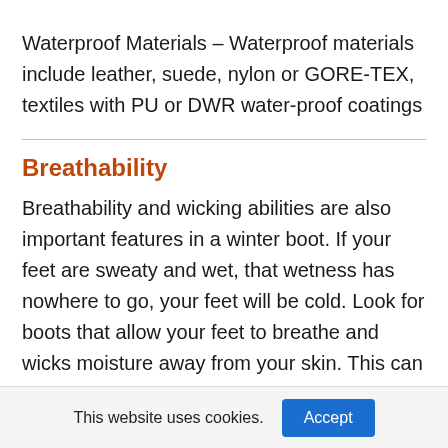Waterproof Materials – Waterproof materials include leather, suede, nylon or GORE-TEX, textiles with PU or DWR water-proof coatings
Breathability
Breathability and wicking abilities are also important features in a winter boot. If your feet are sweaty and wet, that wetness has nowhere to go, your feet will be cold. Look for boots that allow your feet to breathe and wicks moisture away from your skin. This can also be achieved through the
This website uses cookies.